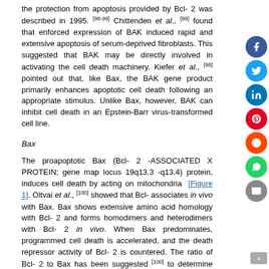the protection from apoptosis provided by Bcl- 2 was described in 1995. [98-99] Chittenden et al., [99] found that enforced expression of BAK induced rapid and extensive apoptosis of serum-deprived fibroblasts. This suggested that BAK may be directly involved in activating the cell death machinery. Kiefer et al., [98] pointed out that, like Bax, the BAK gene product primarily enhances apoptotic cell death following an appropriate stimulus. Unlike Bax, however, BAK can inhibit cell death in an Epstein-Barr virus-transformed cell line.
Bax
The proapoptotic Bax (Bcl- 2 -ASSOCIATED X PROTEIN; gene map locus 19q13.3 -q13.4) protein, induces cell death by acting on mitochondria [Figure 1]. Oltvai et al., [100] showed that Bcl- associates in vivo with Bax. Bax shows extensive amino acid homology with Bcl- 2 and forms homodimers and heterodimers with Bcl- 2 in vivo. When Bax predominates, programmed cell death is accelerated, and the death repressor activity of Bcl- 2 is countered. The ratio of Bcl- 2 to Bax has been suggested [100] to determine survival or death following an apoptotic stimulus.
MITF
MITF (MICROPHTHALMIA-ASSOCIATED TRANSCRIPTION FACTOR; gene map locus 3p14.1 -p12.3) is a basic helix-loop-helix leucine-zipper protein that plays a role in the development of various cell types including neural crest-derived melanocytes and optic cup-derived retinal